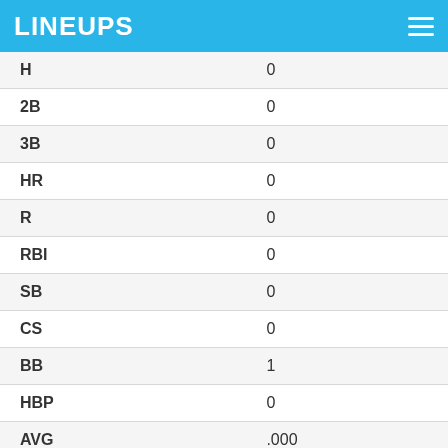LINEUPS
| Stat | Value |
| --- | --- |
| H | 0 |
| 2B | 0 |
| 3B | 0 |
| HR | 0 |
| R | 0 |
| RBI | 0 |
| SB | 0 |
| CS | 0 |
| BB | 1 |
| HBP | 0 |
| AVG | .000 |
| OBP | 1.000 |